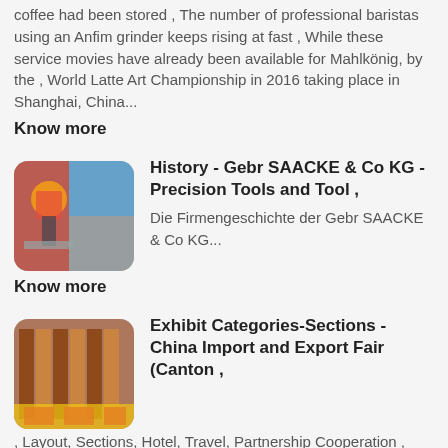coffee had been stored , The number of professional baristas using an Anfim grinder keeps rising at fast , While these service movies have already been available for Mahlkönig, by the , World Latte Art Championship in 2016 taking place in Shanghai, China...
Know more
[Figure (photo): Industrial or workshop scene with worker in hard hat, red and blue colors]
History - Gebr SAACKE & Co KG - Precision Tools and Tool ,
Die Firmengeschichte der Gebr SAACKE & Co KG...
Know more
[Figure (photo): Yellow and brown industrial equipment or machinery]
Exhibit Categories-Sections - China Import and Export Fair (Canton ,
, Layout, Sections, Hotel, Travel, Partnership Cooperation , Service, Trade Matching , Bench Drills, Grinders, Grinding Materials, Diamond & Diamond Products, , Canton Fair Call Centre: The Chinese Mainland 4000-888-999: Outside the....
Know more